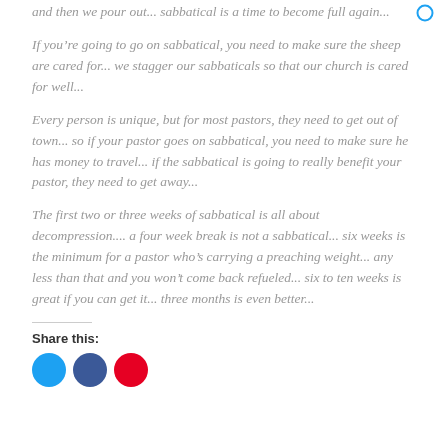and then we pour out... sabbatical is a time to become full again...
If you’re going to go on sabbatical, you need to make sure the sheep are cared for... we stagger our sabbaticals so that our church is cared for well...
Every person is unique, but for most pastors, they need to get out of town... so if your pastor goes on sabbatical, you need to make sure he has money to travel... if the sabbatical is going to really benefit your pastor, they need to get away...
The first two or three weeks of sabbatical is all about decompression.... a four week break is not a sabbatical... six weeks is the minimum for a pastor who’s carrying a preaching weight... any less than that and you won’t come back refueled... six to ten weeks is great if you can get it... three months is even better...
Share this: